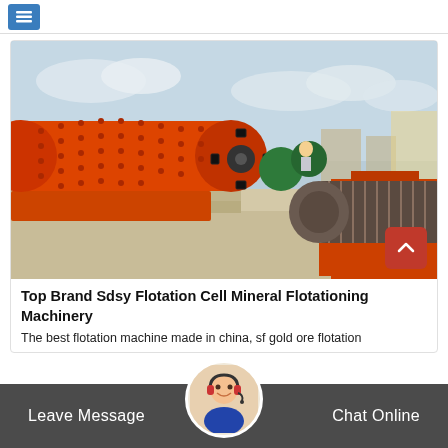[Figure (photo): Industrial mining equipment: large orange ball mill and magnetic separator machines on a construction site outdoors, with green electric motors visible in the background and a cloudy sky.]
Top Brand Sdsy Flotation Cell Mineral Flotationing Machinery
The best flotation machine made in china, sf gold ore flotation
Leave Message | Chat Online